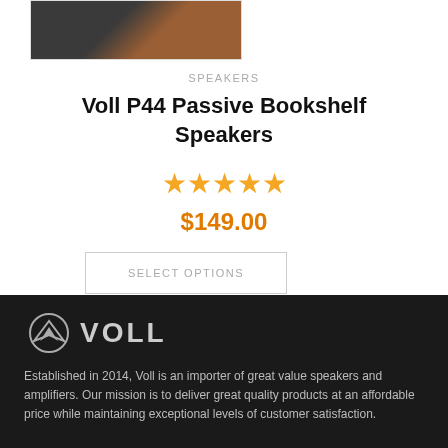[Figure (photo): Two bookshelf speakers side by side, one black and one brown/wood finish]
SPEAKERS
Voll P44 Passive Bookshelf Speakers
★★★★★
$149.00
SELECT OPTIONS
[Figure (logo): Voll logo: circular V emblem with VOLL text]
Established in 2014, Voll is an importer of great value speakers and amplifiers. Our mission is to deliver great quality products at an affordable price while maintaining exceptional levels of customer satisfaction.